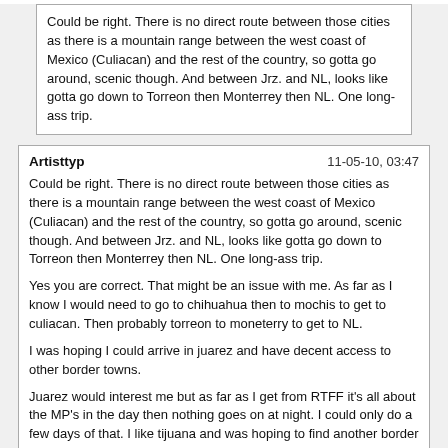Could be right. There is no direct route between those cities as there is a mountain range between the west coast of Mexico (Culiacan) and the rest of the country, so gotta go around, scenic though. And between Jrz. and NL, looks like gotta go down to Torreon then Monterrey then NL. One long-ass trip.
Artisttyp	11-05-10, 03:47
Could be right. There is no direct route between those cities as there is a mountain range between the west coast of Mexico (Culiacan) and the rest of the country, so gotta go around, scenic though. And between Jrz. and NL, looks like gotta go down to Torreon then Monterrey then NL. One long-ass trip.

Yes you are correct. That might be an issue with me. As far as I know I would need to go to chihuahua then to mochis to get to culiacan. Then probably torreon to moneterry to get to NL.

I was hoping I could arrive in juarez and have decent access to other border towns.

Juarez would interest me but as far as I get from RTFF it's all about the MP's in the day then nothing goes on at night. I could only do a few days of that. I like tijuana and was hoping to find another border town I could alternate it with.

Thank you for your response.
Clydesdale	11-05-10, 04:18
Yes you are correct. That might be an issue with me. As far as I know I would need to go to chihuahua then to mochis to get to culiacan. Then probably torreon to moneterry to get to NL.

I was hoping I could arrive in juarez and have decent access to other border towns.

Juarez would interest me but as far as I get from RTFF it's all about the MP's in